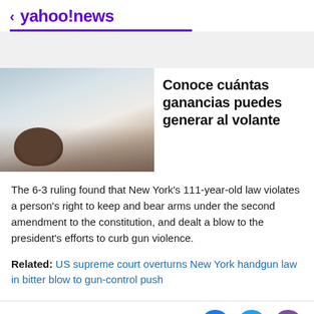< yahoo!news
[Figure (photo): Car interior/exterior photo showing a person near a vehicle, partially visible]
Conoce cuántas ganancias puedes generar al volante
The 6-3 ruling found that New York's 111-year-old law violates a person's right to keep and bear arms under the second amendment to the constitution, and dealt a blow to the president's efforts to curb gun violence.
Related: US supreme court overturns New York handgun law in bitter blow to gun-control push
[Figure (infographic): Social sharing icons: Facebook (blue circle), Twitter (light blue circle), Email (purple circle)]